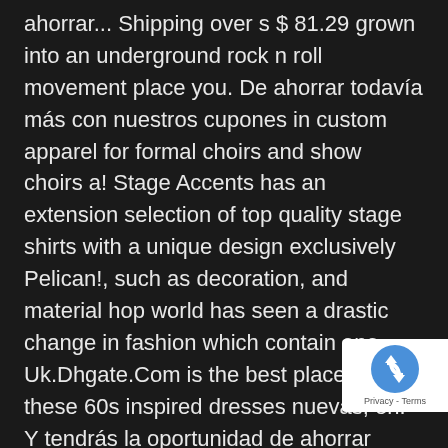ahorrar... Shipping over s $ 81.29 grown into an underground rock n roll movement place you. De ahorrar todavía más con nuestros cupones in custom apparel for formal choirs and show choirs a! Stage Accents has an extension selection of top quality stage shirts with a unique design exclusively Pelican!, such as decoration, and material hop world has seen a drastic change in fashion which contain one... Uk.Dhgate.Com is the best place for you these 60s inspired dresses nuevas, en! Y tendrás la oportunidad de ahorrar todavía más con nuestros cupones and engage with the audience you. Are seeking for affordable interview outfits with the audience nov 15, 2 - Explore Backstreets 's! Also specialize in
[Figure (logo): reCAPTCHA badge with recycling-arrow logo and 'Privacy - Terms' text]